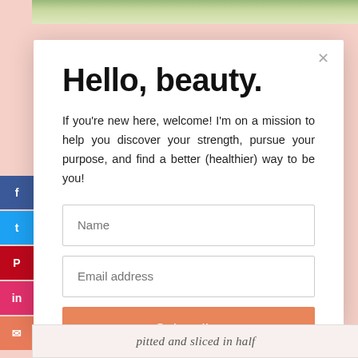[Figure (photo): Food photo strip at top of page showing a pasta or noodle dish with green vegetables]
Hello, beauty.
If you're new here, welcome! I'm on a mission to help you discover your strength, pursue your purpose, and find a better (healthier) way to be you!
Name (form input placeholder)
Email address (form input placeholder)
Subscribe (button)
pitted and sliced in half